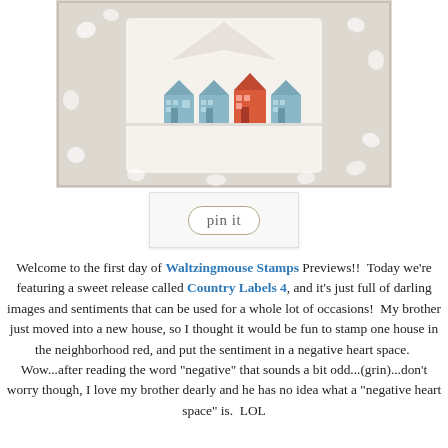[Figure (photo): Craft card photo showing a stamped card with small house illustrations (blue and red houses) in a neighborhood row, surrounded by crystal/gem decorations on the border.]
[Figure (other): Pin it button/badge]
Welcome to the first day of Waltzingmouse Stamps Previews!!  Today we're featuring a sweet release called Country Labels 4, and it's just full of darling images and sentiments that can be used for a whole lot of occasions!  My brother just moved into a new house, so I thought it would be fun to stamp one house in the neighborhood red, and put the sentiment in a negative heart space.  Wow...after reading the word "negative" that sounds a bit odd...(grin)...don't worry though, I love my brother dearly and he has no idea what a "negative heart space" is.  LOL